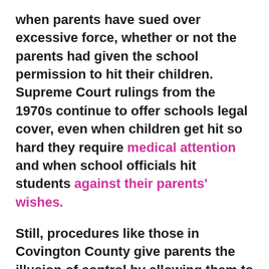when parents have sued over excessive force, whether or not the parents had given the school permission to hit their children. Supreme Court rulings from the 1970s continue to offer schools legal cover, even when children get hit so hard they require medical attention and when school officials hit students against their parents' wishes.
Still, procedures like those in Covington County give parents the illusion of control by allowing them to opt their children out of corporal punishment. District policy is to respect parents' preferences, but that doesn't always happen. Children who shouldn't be paddled are paddled anyway, usually when parent letters get lost, or because school officials don't check their lists